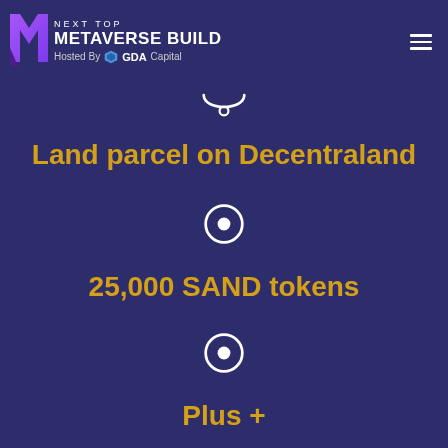NEXT TOP METAVERSE BUILD Hosted By GDA Capital
[Figure (illustration): Curved arc / smile icon divider in white outline]
Land parcel on Decentraland
[Figure (illustration): Bullseye / target circle icon in white outline]
25,000 SAND tokens
[Figure (illustration): Bullseye / target circle icon in white outline]
Plus +